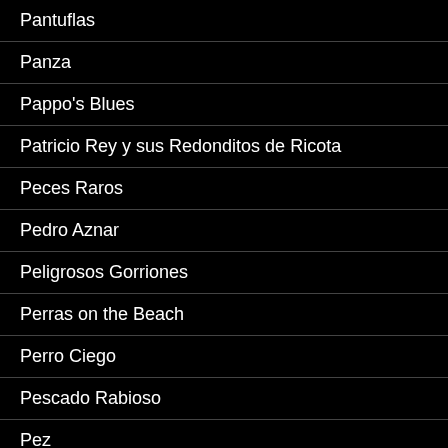Pantuflas
Panza
Pappo's Blues
Patricio Rey y sus Redonditos de Ricota
Peces Raros
Pedro Aznar
Peligrosos Gorriones
Perras on the Beach
Perro Ciego
Pescado Rabioso
Pez
Pier
Translate »